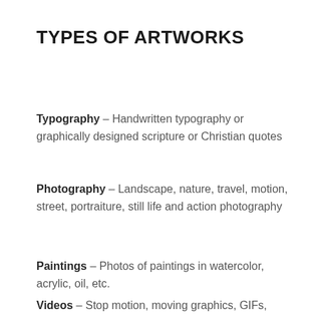TYPES OF ARTWORKS
Typography – Handwritten typography or graphically designed scripture or Christian quotes
Photography – Landscape, nature, travel, motion, street, portraiture, still life and action photography
Paintings – Photos of paintings in watercolor, acrylic, oil, etc.
Videos – Stop motion, moving graphics, GIFs,